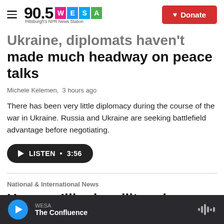90.5 WESA – Pittsburgh's NPR News Station | Donate
Ukraine, diplomats haven't made much headway on peace talks
Michele Kelemen,  3 hours ago
There has been very little diplomacy during the course of the war in Ukraine. Russia and Ukraine are seeking battlefield advantage before negotiating.
LISTEN • 3:56
National & International News
How an Illinois military base
WESA – The Confluence